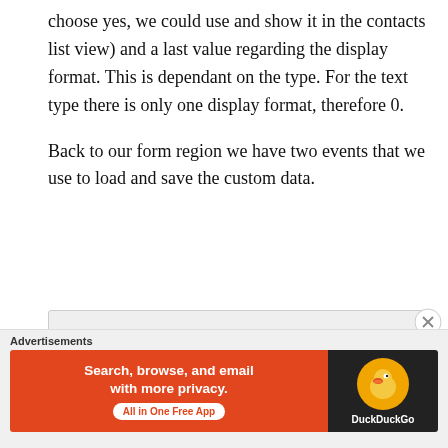choose yes, we could use and show it in the contacts list view) and a last value regarding the display format. This is dependant on the type. For the text type there is only one display format, therefore 0.
Back to our form region we have two events that we use to load and save the custom data.
private void MyFormRegion_FormRegionShowing(object sender, System.EventArgs e)
private void MyFormRegion_FormRegionClosed(object sender, System.EventArgs e)
[Figure (other): DuckDuckGo advertisement banner with orange background on left reading 'Search, browse, and email with more privacy. All in One Free App' and dark background on right showing DuckDuckGo duck logo]